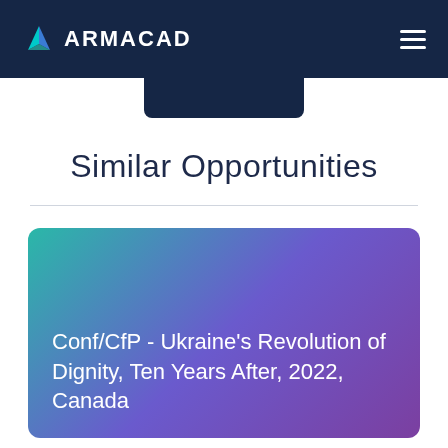ARMACAD
Similar Opportunities
Conf/CfP - Ukraine's Revolution of Dignity, Ten Years After, 2022, Canada